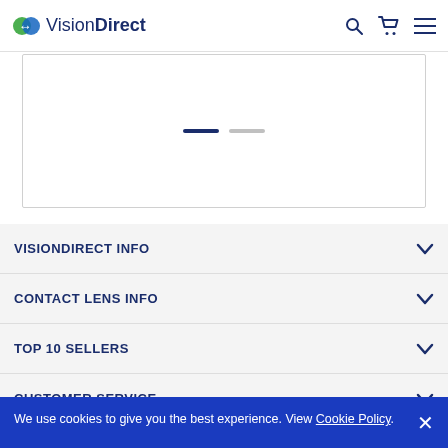VisionDirect
[Figure (other): Carousel image area with two pagination dots (one active, one inactive)]
VISIONDIRECT INFO
CONTACT LENS INFO
TOP 10 SELLERS
CUSTOMER SERVICE
We use cookies to give you the best experience. View Cookie Policy.